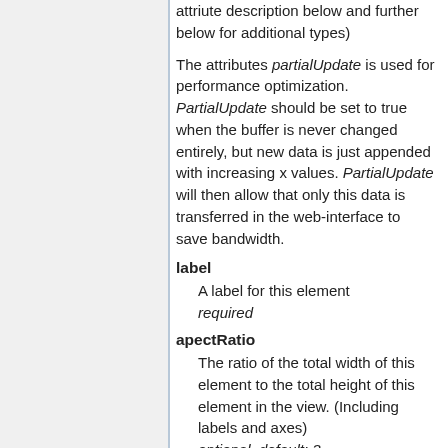attriute description below and further below for additional types)
The attributes partialUpdate is used for performance optimization. PartialUpdate should be set to true when the buffer is never changed entirely, but new data is just appended with increasing x values. PartialUpdate will then allow that only this data is transferred in the web-interface to save bandwidth.
label
A label for this element
required
apectRatio
The ratio of the total width of this element to the total height of this element in the view. (Including labels and axes)
optional, default: 3